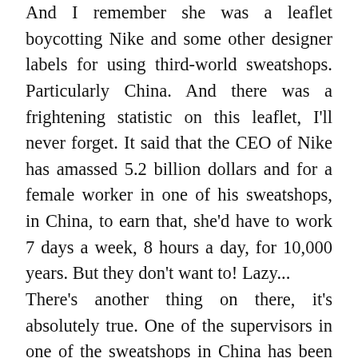And I remember she was a leaflet boycotting Nike and some other designer labels for using third-world sweatshops. Particularly China. And there was a frightening statistic on this leaflet, I'll never forget. It said that the CEO of Nike has amassed 5.2 billion dollars and for a female worker in one of his sweatshops, in China, to earn that, she'd have to work 7 days a week, 8 hours a day, for 10,000 years. But they don't want to! Lazy... There's another thing on there, it's absolutely true. One of the supervisors in one of the sweatshops in China has been accused of sexually assaulting one of the female workers and he'd been... That's not funny, is it? ...and he was suspended, but fled the country before he'd come to trial. And the CEO of Nike was